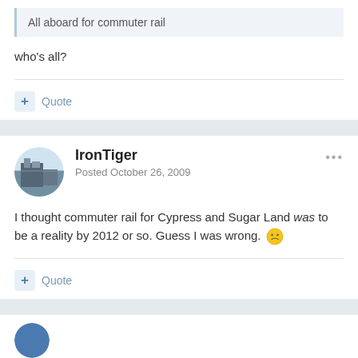All aboard for commuter rail
who's all?
+ Quote
IronTiger
Posted October 26, 2009
I thought commuter rail for Cypress and Sugar Land was to be a reality by 2012 or so. Guess I was wrong.
+ Quote